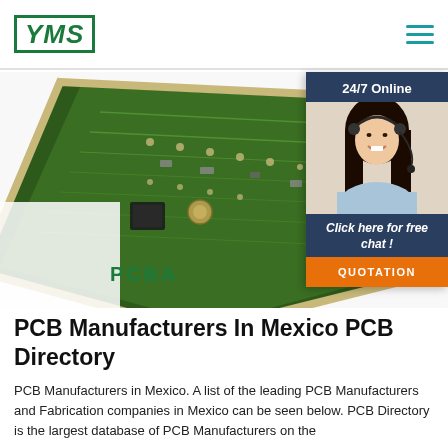[Figure (logo): YMS logo with green border and italic bold text]
[Figure (screenshot): Navigation hamburger menu icon in teal]
[Figure (photo): PCB circuit board photograph with green circuit traces, hero banner image with PCBA label overlay]
[Figure (photo): Chat widget showing 24/7 Online header, woman with headset photo, Click here for free chat text, and QUOTATION orange button]
PCB Manufacturers In Mexico PCB Directory
PCB Manufacturers in Mexico. A list of the leading PCB Manufacturers and Fabrication companies in Mexico can be seen below. PCB Directory is the largest database of PCB Manufacturers on the